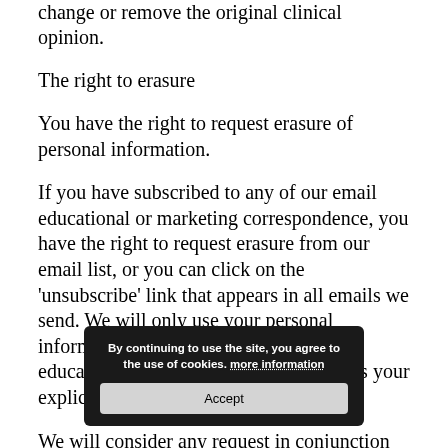change or remove the original clinical opinion.
The right to erasure
You have the right to request erasure of personal information.
If you have subscribed to any of our email educational or marketing correspondence, you have the right to request erasure from our email list, or you can click on the 'unsubscribe' link that appears in all emails we send. We will only use your personal information to send you marketing or educational material if you have given us your explicit permission.
We will consider any request in conjunction with our legal obligations. Information relating to your health care provided by us, as well as data protection law which clearly states
[Figure (screenshot): Cookie consent banner overlay with dark background reading 'By continuing to use the site, you agree to the use of cookies. more information' with an Accept button.]